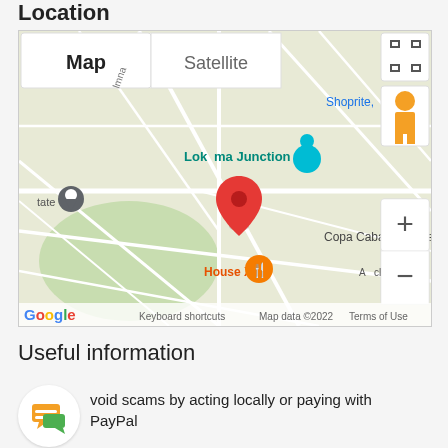Location
[Figure (map): Google Map showing Lokoma Junction area with a red pin marker, 'House X' restaurant marker in orange, a grey location pin near 'tate', blue location pin near 'Shoprite', Copa Cabana Homes label, Map/Satellite toggle buttons, zoom controls (+/-), street view yellow figure icon, fullscreen icon, Google logo, and footer text: Keyboard shortcuts | Map data ©2022 | Terms of Use]
Useful information
Avoid scams by acting locally or paying with PayPal